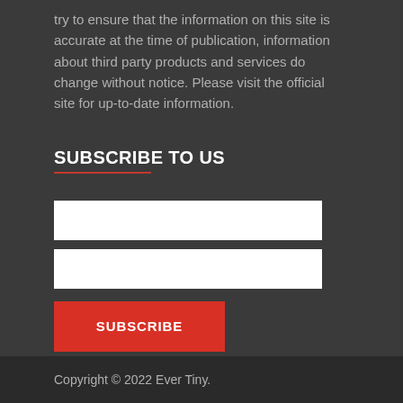try to ensure that the information on this site is accurate at the time of publication, information about third party products and services do change without notice. Please visit the official site for up-to-date information.
SUBSCRIBE TO US
[Figure (other): Two empty white input fields for subscription form (name and email)]
SUBSCRIBE
Copyright © 2022 Ever Tiny.